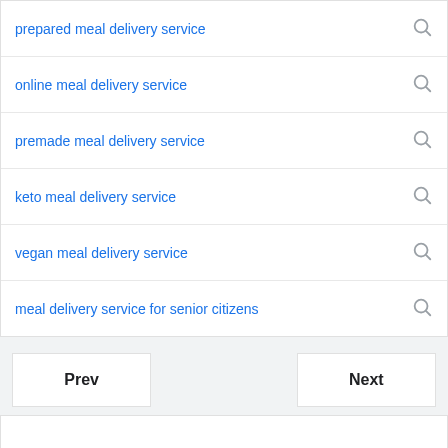prepared meal delivery service
online meal delivery service
premade meal delivery service
keto meal delivery service
vegan meal delivery service
meal delivery service for senior citizens
Prev
Next
Location unknown Update
Sign In
Settings  Feedback  Help  Privacy (Updated)